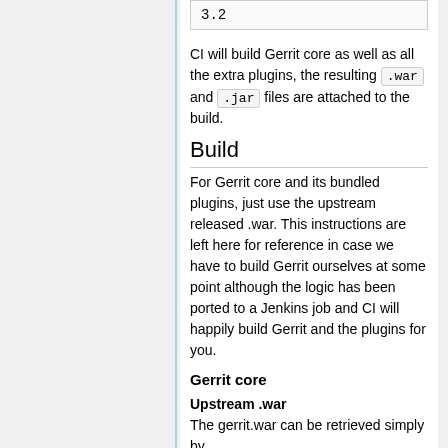3.2
CI will build Gerrit core as well as all the extra plugins, the resulting .war and .jar files are attached to the build.
Build
For Gerrit core and its bundled plugins, just use the upstream released .war. This instructions are left here for reference in case we have to build Gerrit ourselves at some point although the logic has been ported to a Jenkins job and CI will happily build Gerrit and the plugins for you.
Gerrit core
Upstream .war
The gerrit.war can be retrieved simply by